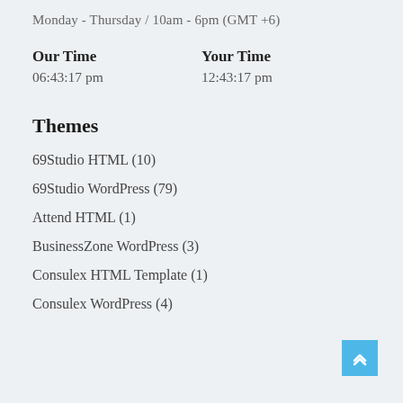Monday - Thursday / 10am - 6pm (GMT +6)
Our Time
06:43:17 pm
Your Time
12:43:17 pm
Themes
69Studio HTML (10)
69Studio WordPress (79)
Attend HTML (1)
BusinessZone WordPress (3)
Consulex HTML Template (1)
Consulex WordPress (4)